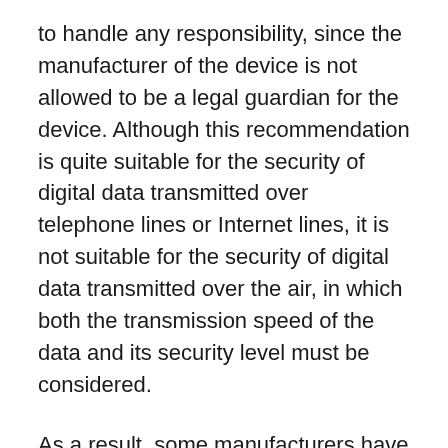to handle any responsibility, since the manufacturer of the device is not allowed to be a legal guardian for the device. Although this recommendation is quite suitable for the security of digital data transmitted over telephone lines or Internet lines, it is not suitable for the security of digital data transmitted over the air, in which both the transmission speed of the data and its security level must be considered.
As a result, some manufacturers have suggested that it is not necessary to specify whether or not a person can change the contents of the data, but